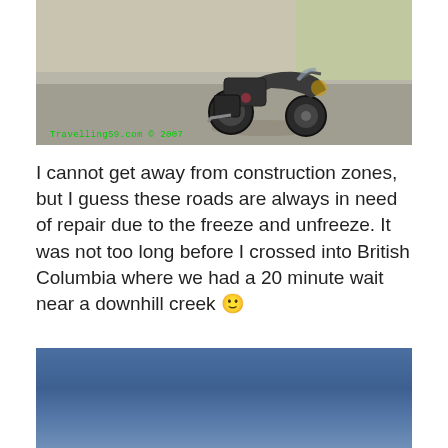[Figure (photo): A motorcycle photographed on a gravel or dirt road surface, with a watermark reading 'Travelling59.com © 2007' in green text at the bottom left.]
I cannot get away from construction zones, but I guess these roads are always in need of repair due to the freeze and unfreeze. It was not too long before I crossed into British Columbia where we had a 20 minute wait near a downhill creek 🙂
[Figure (photo): A blue sky photograph, partially visible, showing a gradient blue sky.]